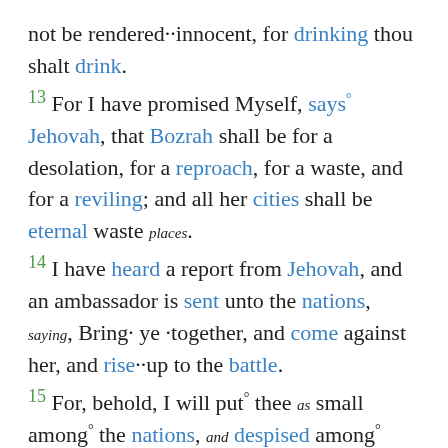not be rendered··innocent, for drinking thou shalt drink. 13 For I have promised Myself, says° Jehovah, that Bozrah shall be for a desolation, for a reproach, for a waste, and for a reviling; and all her cities shall be eternal waste places. 14 I have heard a report from Jehovah, and an ambassador is sent unto the nations, saying, Bring·ye ·together, and come against her, and rise··up to the battle. 15 For, behold, I will put° thee as small among° the nations, and despised among° man. 16 Thy horror has beguiled thee, the presumptuousness of thy heart, O thou who